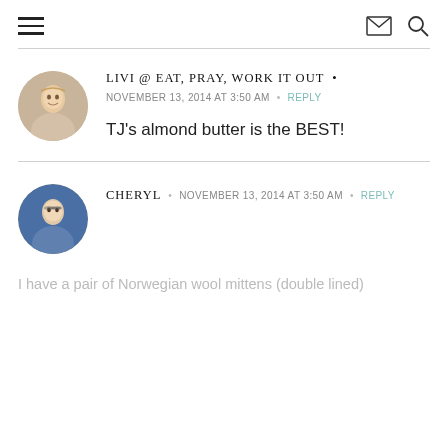Navigation header with hamburger menu, mail icon, and search icon
LIVI @ EAT, PRAY, WORK IT OUT •
NOVEMBER 13, 2014 AT 3:50 AM • REPLY
TJ's almond butter is the BEST!
CHERYL • NOVEMBER 13, 2014 AT 3:50 AM • REPLY
I have a pair of Norwegian wool mittens (double lined)